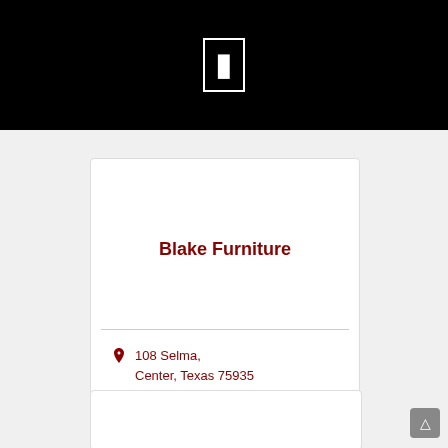[Figure (other): Black header bar with a white rectangle/cursor icon in the center]
Blake Furniture
108 Selma, Center, Texas 75935
(936) 598-3351